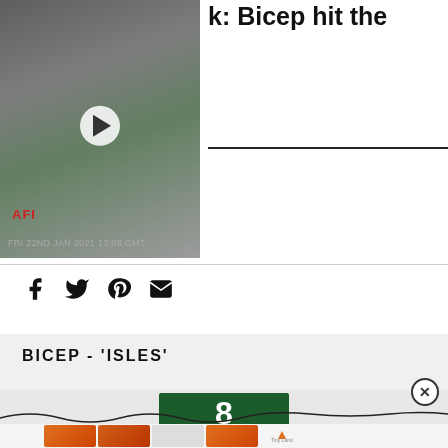[Figure (screenshot): Video thumbnail showing a black-and-white film still with AFI badge and timestamp. Play button visible.]
k: Bicep hit the
FRI 22ND JAN 2021 13:08 GMT
[Figure (infographic): Social media sharing icons: Facebook, Twitter, Pinterest, Email]
BICEP - 'ISLES'
[Figure (infographic): Score box showing the number 8 in white on dark green background]
[Figure (screenshot): Ad strip at bottom with decorative pretzel/letter dollar-sign images and Tiny Land logo]